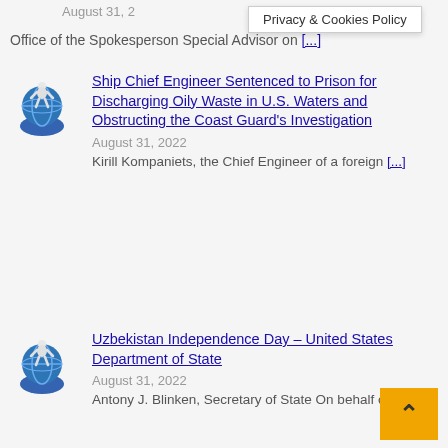August 31, 2
Privacy & Cookies Policy
Office of the Spokesperson Special Advisor on [...]
Ship Chief Engineer Sentenced to Prison for Discharging Oily Waste in U.S. Waters and Obstructing the Coast Guard's Investigation
August 31, 2022
Kirill Kompaniets, the Chief Engineer of a foreign [...]
Uzbekistan Independence Day – United States Department of State
August 31, 2022
Antony J. Blinken, Secretary of State On behalf of the [...]
United States Obtains Warrant for Seizure $45 Million Airplane Owned by Russian Energy Company PJSC LUKOIL